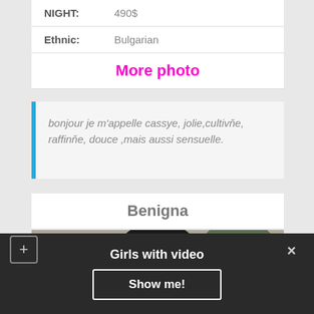| NIGHT: | 490$ |
| Ethnic: | Bulgarian |
More photo
bonjour je m'appelle cassye, jolie,cultivňe, raffinňe, douce ,mais aussi sensuelle.
Benigna
[Figure (photo): Portrait photo of a young woman with long dark hair, wearing makeup, in a room with a window and plant in background]
Girls with video
Show me!